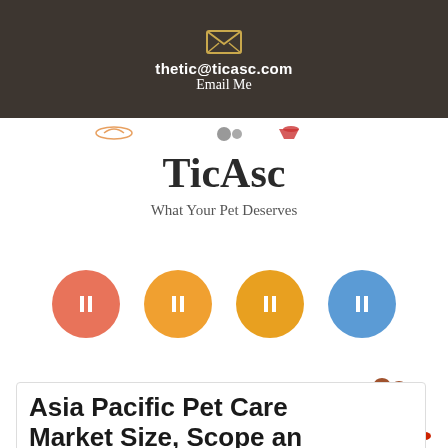thetic@ticasc.com
Email Me
[Figure (logo): TicAsc website logo area with navigation icons (pet silhouettes)]
TicAsc
What Your Pet Deserves
[Figure (infographic): Four circular social media icon buttons: red (Facebook), orange (Twitter/X), amber (Pinterest), blue (LinkedIn/RSS)]
[Figure (illustration): Colorful paw print decorations in yellow, brown, red colors]
Asia Pacific Pet Care Market Size, Scope an